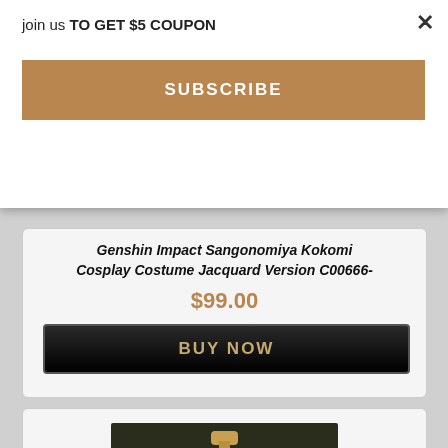join us TO GET $5 COUPON
×
SUBSCRIBE
Genshin Impact Sangonomiya Kokomi Cosplay Costume Jacquard Version C00666-
$99.00
BUY NOW
[Figure (photo): Cosplay costume displayed on a mannequin bust against a dark background. The costume features white and black fabric with red accents, gold ornamental jewelry/necklace, and flowing sleeves.]